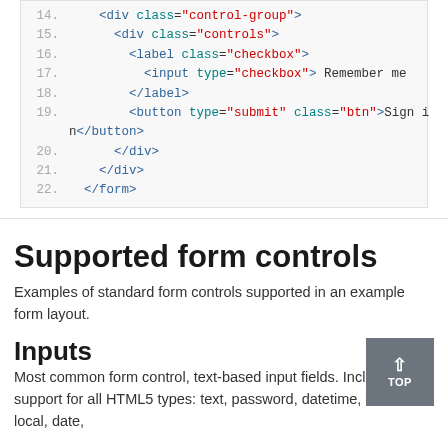[Figure (screenshot): Code block showing HTML form markup, lines 14-22, with syntax highlighting. Tags in blue, attribute names in teal, attribute values in red.]
Supported form controls
Examples of standard form controls supported in an example form layout.
Inputs
Most common form control, text-based input fields. Includes support for all HTML5 types: text, password, datetime, datetime-local, date,